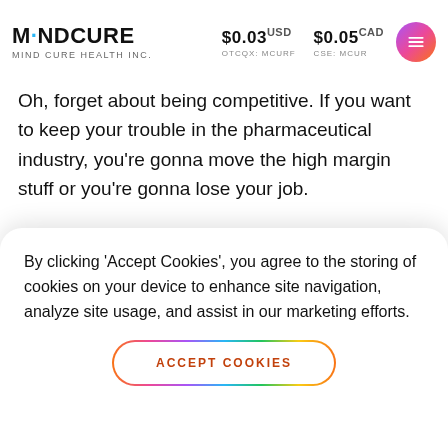MINDCURE | MIND CURE HEALTH INC. | $0.03 USD | OTCQX: MCURF | $0.05 CAD | CSE: MCUR
Oh, forget about being competitive. If you want to keep your trouble in the pharmaceutical industry, you're gonna move the high margin stuff or you're gonna lose your job.
Sam Mandel - 0:10:44
By clicking 'Accept Cookies', you agree to the storing of cookies on your device to enhance site navigation, analyze site usage, and assist in our marketing efforts.
ACCEPT COOKIES